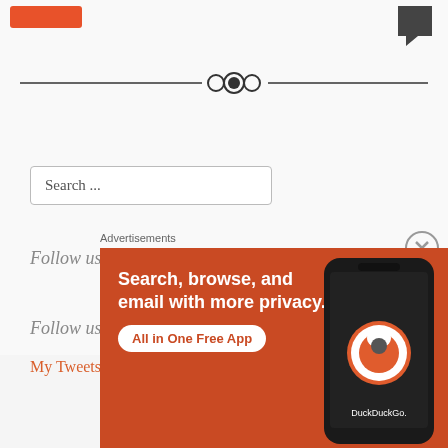[Figure (screenshot): Orange button at top left of page]
[Figure (illustration): Dark chat bubble icon at top right]
[Figure (other): Decorative horizontal divider with circles in the center]
Search ...
Follow us on Facebook for updates and other fun things!
Follow us on Twitter
My Tweets
Advertisements
[Figure (screenshot): DuckDuckGo advertisement banner: Search, browse, and email with more privacy. All in One Free App. Shows phone with DuckDuckGo logo.]